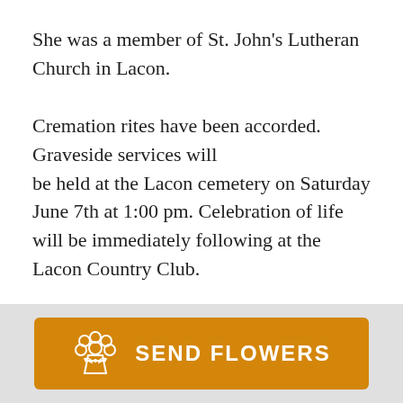She was a member of St. John's Lutheran Church in Lacon.
Cremation rites have been accorded.  Graveside services will be held at the Lacon cemetery on Saturday June 7th at 1:00 pm. Celebration of life will be immediately following at the Lacon Country Club.
[Figure (other): Orange 'Send Flowers' button with flower bouquet icon]